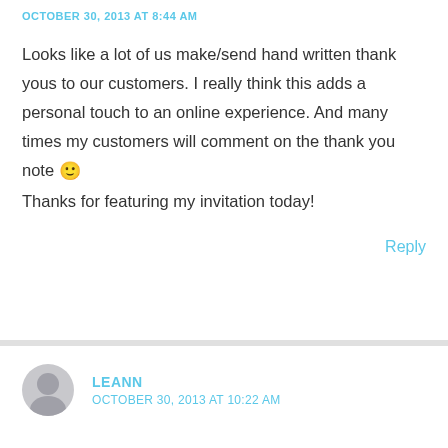OCTOBER 30, 2013 AT 8:44 AM
Looks like a lot of us make/send hand written thank yous to our customers. I really think this adds a personal touch to an online experience. And many times my customers will comment on the thank you note 🙂
Thanks for featuring my invitation today!
Reply
LEANN
OCTOBER 30, 2013 AT 10:22 AM
Interesting post. I send handwritten thank yous, include